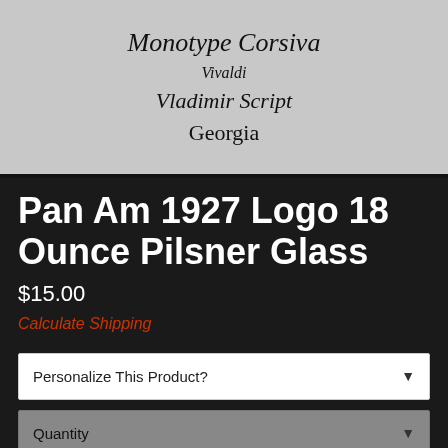[Figure (illustration): Light gray background showing font name samples: 'Monotype Corsiva' in italic script, 'Vivaldi' in italic, 'Vladimir Script' in script style, and 'Georgia' in serif.]
Pan Am 1927 Logo 18 Ounce Pilsner Glass
$15.00
Calculate Shipping
Personalize This Product?
Quantity